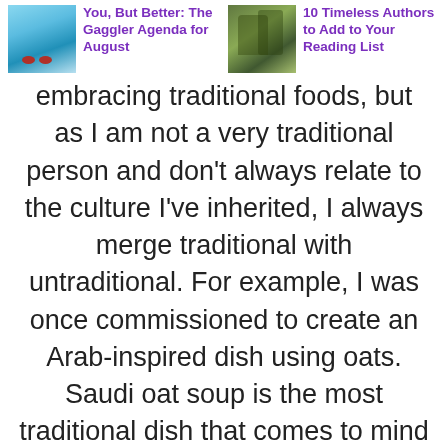You, But Better: The Gaggler Agenda for August | 10 Timeless Authors to Add to Your Reading List
embracing traditional foods, but as I am not a very traditional person and don't always relate to the culture I've inherited, I always merge traditional with untraditional. For example, I was once commissioned to create an Arab-inspired dish using oats. Saudi oat soup is the most traditional dish that comes to mind when I think of oats, but I couldn't do that – that's too easy. So, I made a savoury granola using za'atar, cumin, and pomegranate molasses, serving it alongside Turkish tomato sauce, grilled eggplant, and whipped garlic yoghurt.